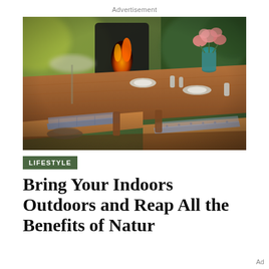Advertisement
[Figure (photo): Outdoor dining table set with plates, glasses, and a blue vase with pink flowers, surrounded by green foliage and a fire pit in the background.]
LIFESTYLE
Bring Your Indoors Outdoors and Reap All the Benefits of Nature
Ad